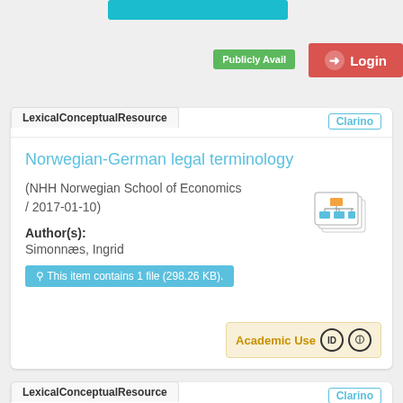[Figure (screenshot): Cyan horizontal button bar at top of page]
Publicly Avail
[Figure (screenshot): Red Login button with arrow icon]
LexicalConceptualResource
Clarino
Norwegian-German legal terminology
(NHH Norwegian School of Economics / 2017-01-10)
Author(s):
Simonnæs, Ingrid
This item contains 1 file (298.26 KB).
Academic Use
LexicalConceptualResource
Clarino
English for business